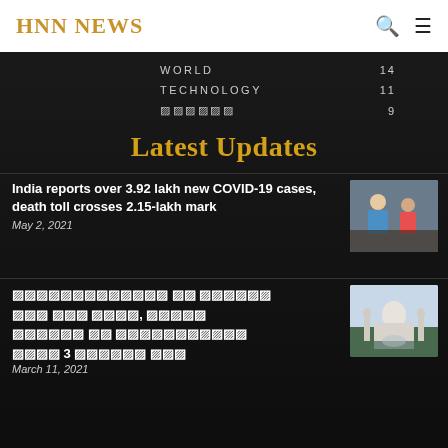HNN NEWS
WORLD  14
TECHNOLOGY  11
[મરાઠી]  9
Latest Updates
India reports over 3.92 lakh new COVID-19 cases, death toll crosses 2.15-lakh mark
May 2, 2021
[Figure (photo): Healthcare workers treating COVID patients]
[Indic script headline - unrenderable characters] 3 [Indic script] [Indic script]
March 11, 2021
[Figure (photo): Taj Mahal, India landmark]